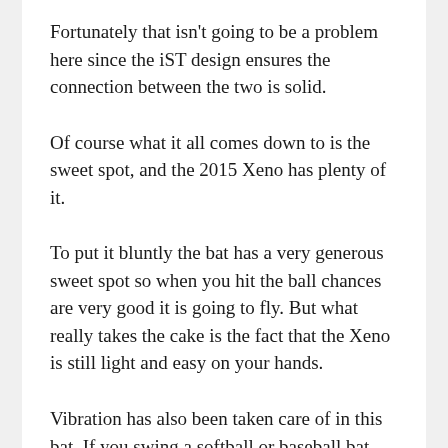Fortunately that isn't going to be a problem here since the iST design ensures the connection between the two is solid.
Of course what it all comes down to is the sweet spot, and the 2015 Xeno has plenty of it.
To put it bluntly the bat has a very generous sweet spot so when you hit the ball chances are very good it is going to fly. But what really takes the cake is the fact that the Xeno is still light and easy on your hands.
Vibration has also been taken care of in this bat. If you swing a softball or baseball bat frequently enough, you're going to feel the vibration and in